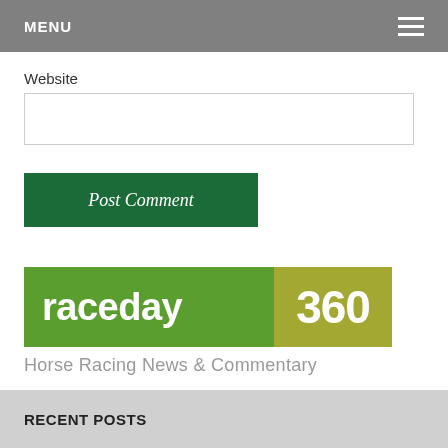MENU
Website
Post Comment
[Figure (logo): Raceday 360 logo with green left panel showing 'raceday' and olive right panel showing '360', tagline 'Horse Racing News & Commentary']
RECENT POSTS